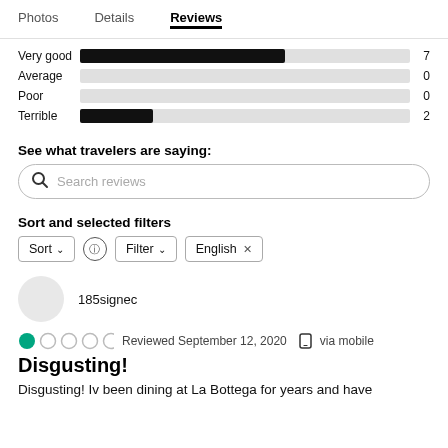Photos   Details   Reviews
[Figure (bar-chart): Rating distribution]
See what travelers are saying:
Search reviews
Sort and selected filters
Sort  ⓘ  Filter  English ×
185signec
● ○ ○ ○ ○  Reviewed September 12, 2020  via mobile
Disgusting!
Disgusting! Iv been dining at La Bottega for years and have